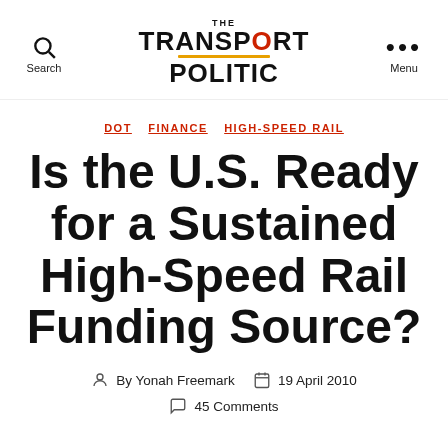The Transport Politic
DOT  FINANCE  HIGH-SPEED RAIL
Is the U.S. Ready for a Sustained High-Speed Rail Funding Source?
By Yonah Freemark  19 April 2010
45 Comments